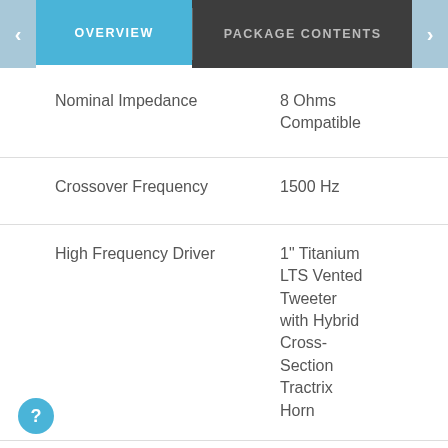OVERVIEW | PACKAGE CONTENTS
| Specification | Value |
| --- | --- |
| Nominal Impedance | 8 Ohms Compatible |
| Crossover Frequency | 1500 Hz |
| High Frequency Driver | 1" Titanium LTS Vented Tweeter with Hybrid Cross-Section Tractrix Horn |
| Low Frequency Driver | 5.25" Cerametallic |